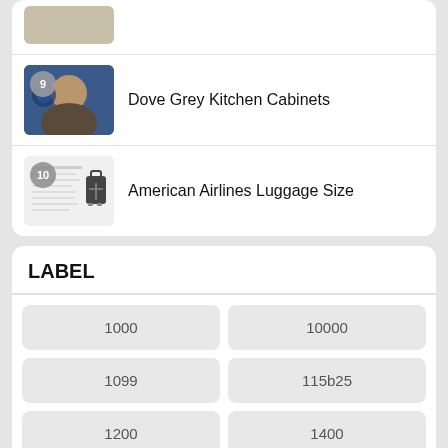[Figure (screenshot): Partial thumbnail of item above, cropped at top]
[Figure (photo): Thumbnail image numbered 9 showing a person with blue/grey background]
Dove Grey Kitchen Cabinets
[Figure (screenshot): Thumbnail numbered 10 showing a document page with a luggage icon]
American Airlines Luggage Size
LABEL
1000
10000
1099
115b25
1200
1400
1800
1920s